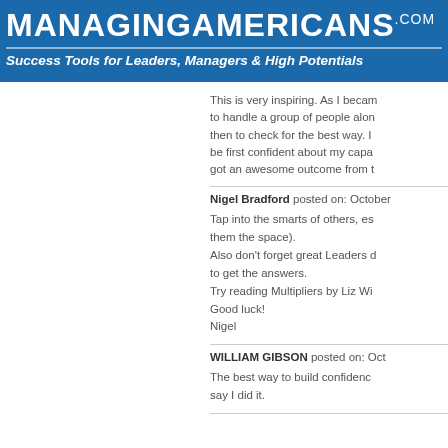MANAGINGAMERICANS.com
Success Tools for Leaders, Managers & High Potentials
This is very inspiring. As I becam to handle a group of people alon then to check for the best way. I be first confident about my capa got an awesome outcome from t
Nigel Bradford posted on: October
Tap into the smarts of others, es them the space).
Also don't forget great Leaders d to get the answers.
Try reading Multipliers by Liz Wi
Good luck!
Nigel
WILLIAM GIBSON posted on: Oct
The best way to build confidenc say I did it.